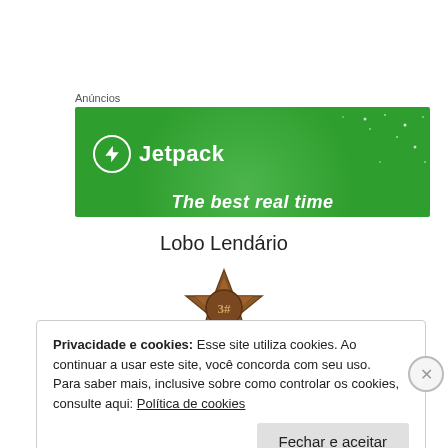Anúncios
[Figure (screenshot): Jetpack advertisement banner on green background with logo and tagline 'The best real time']
Lobo Lendário
[Figure (illustration): Brown sheriff star badge with '3#' text in center]
Privacidade e cookies: Esse site utiliza cookies. Ao continuar a usar este site, você concorda com seu uso.
Para saber mais, inclusive sobre como controlar os cookies, consulte aqui: Política de cookies
Fechar e aceitar